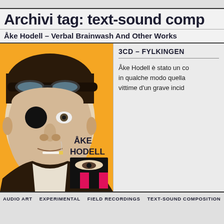Archivi tag: text-sound comp
Åke Hodell – Verbal Brainwash And Other Works
[Figure (illustration): Album cover for Åke Hodell – Verbal Brainwash And Other Works. Orange background with black and white photographic face of a man with goggles, eye patch, and cigarette. Text reads ÅKE HODELL. Small inset image with eye motif and red/black stripes.]
3CD – FYLKINGEN
Åke Hodell è stato un co in qualche modo quella vittime d'un grave incid
AUDIO ART   EXPERIMENTAL   FIELD RECORDINGS   TEXT-SOUND COMPOSITION